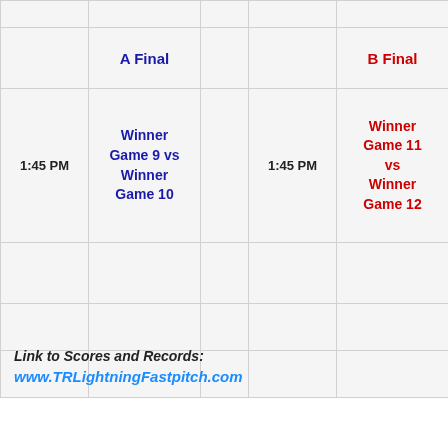|  | A Final |  |  | B Final |
| --- | --- | --- | --- | --- |
|  | A Final |  |  | B Final |
| 1:45 PM | Winner Game 9 vs Winner Game 10 |  | 1:45 PM | Winner Game 11 vs Winner Game 12 |
|  |  |  |  |  |
|  |  |  |  |  |
|  |  |  |  |  |
Link to Scores and Records:
www.TRLightningFastpitch.com